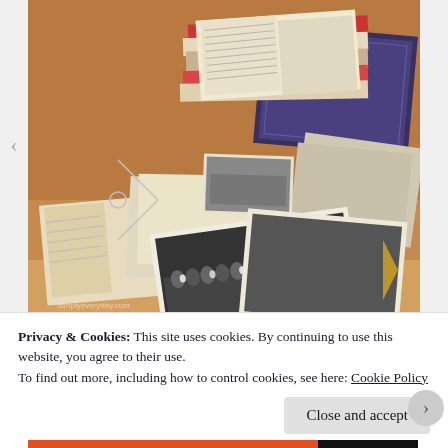[Figure (photo): A photograph showing a collection of old documents, books, letters, and vintage black-and-white photographs scattered on a wooden surface. Items include stacked books, loose papers, and a prominent black-and-white photo of a group of people.]
Privacy & Cookies: This site uses cookies. By continuing to use this website, you agree to their use.
To find out more, including how to control cookies, see here: Cookie Policy
Close and accept